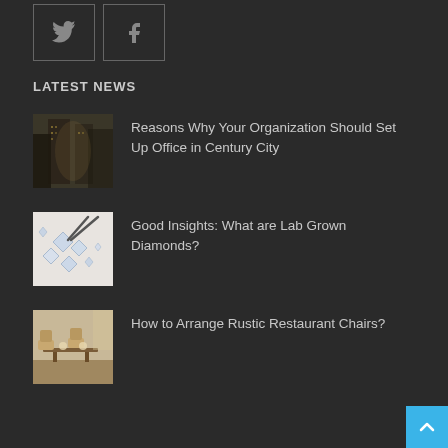[Figure (other): Twitter social share button with bird icon, outlined box]
[Figure (other): Facebook social share button with f icon, outlined box]
LATEST NEWS
[Figure (photo): Dark sepia-toned photo of tall office buildings from below]
Reasons Why Your Organization Should Set Up Office in Century City
[Figure (photo): Close-up photo of lab grown diamonds with tweezers on white background]
Good Insights: What are Lab Grown Diamonds?
[Figure (photo): Restaurant interior with rustic wooden chairs and table settings]
How to Arrange Rustic Restaurant Chairs?